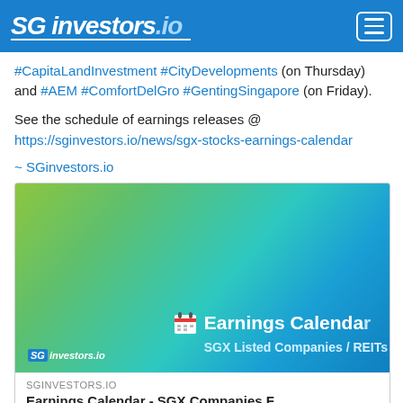SG investors.io
#CapitaLandInvestment #CityDevelopments (on Thursday) and #AEM #ComfortDelGro #GentingSingapore (on Friday).
See the schedule of earnings releases @ https://sginvestors.io/news/sgx-stocks-earnings-calendar
~ SGinvestors.io
[Figure (screenshot): Banner image showing Earnings Calendar for SGX Listed Companies / REITs with SG investors.io logo on a green-to-blue gradient background]
SGINVESTORS.IO
Earnings Calendar - SGX Companies F...
Earnings Calendar - SGX Companies Financial